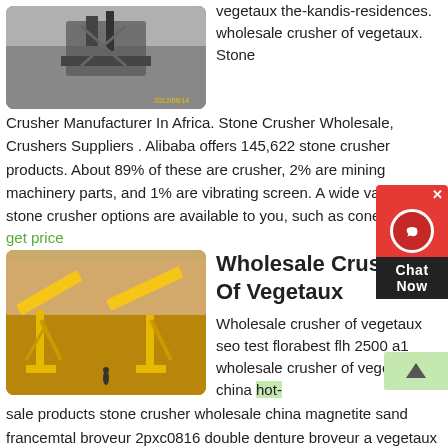[Figure (photo): Black and white photo of a crusher/mining machine outdoors, with timestamp 2012/08/14]
vegetaux the-kandis-residences. wholesale crusher of vegetaux. Stone Crusher Manufacturer In Africa. Stone Crusher Wholesale, Crushers Suppliers . Alibaba offers 145,622 stone crusher products. About 89% of these are crusher, 2% are mining machinery parts, and 1% are vibrating screen. A wide variety of stone crusher options are available to you, such as cone crus
get price
[Figure (photo): Photo of large yellow industrial crusher/conveyor machines at a quarry/mine site]
Wholesale Crusher Of Vegetaux
Wholesale crusher of vegetaux seo test florabest flh 2500 a1 wholesale crusher of vegetaux china hot-sale products stone crusher wholesale china magnetite sand francemtal broveur 2pxc0816 double denture broveur a vegetaux